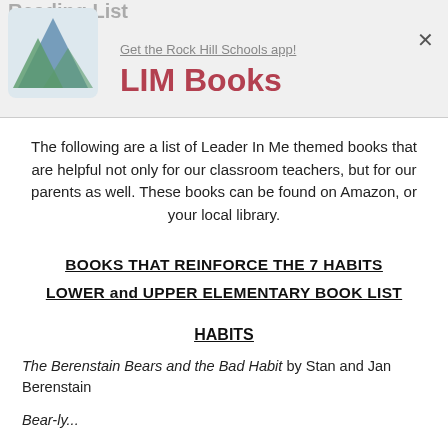LIM Books | Get the Rock Hill Schools app!
The following are a list of Leader In Me themed books that are helpful not only for our classroom teachers, but for our parents as well. These books can be found on Amazon, or your local library.
BOOKS THAT REINFORCE THE 7 HABITS
LOWER and UPPER ELEMENTARY BOOK LIST
HABITS
The Berenstain Bears and the Bad Habit by Stan and Jan Berenstain
Bear-ly...